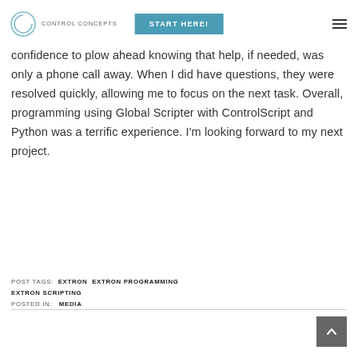CONTROL CONCEPTS | START HERE!
confidence to plow ahead knowing that help, if needed, was only a phone call away. When I did have questions, they were resolved quickly, allowing me to focus on the next task. Overall, programming using Global Scripter with ControlScript and Python was a terrific experience. I'm looking forward to my next project.
POST TAGS: EXTRON  EXTRON PROGRAMMING  EXTRON SCRIPTING
POSTED IN: MEDIA